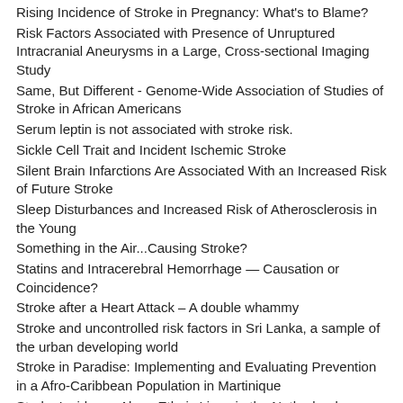Rising Incidence of Stroke in Pregnancy: What's to Blame?
Risk Factors Associated with Presence of Unruptured Intracranial Aneurysms in a Large, Cross-sectional Imaging Study
Same, But Different - Genome-Wide Association of Studies of Stroke in African Americans
Serum leptin is not associated with stroke risk.
Sickle Cell Trait and Incident Ischemic Stroke
Silent Brain Infarctions Are Associated With an Increased Risk of Future Stroke
Sleep Disturbances and Increased Risk of Atherosclerosis in the Young
Something in the Air...Causing Stroke?
Statins and Intracerebral Hemorrhage — Causation or Coincidence?
Stroke after a Heart Attack – A double whammy
Stroke and uncontrolled risk factors in Sri Lanka, a sample of the urban developing world
Stroke in Paradise: Implementing and Evaluating Prevention in a Afro-Caribbean Population in Martinique
Stroke Incidence Along Ethnic Lines in the Netherlands
Stroke Plays Neither Fair, Nor Equal
Systolic Blood Pressure Control: Increased mortality in patients if too low?
Understanding Changing Temporal Trends in Dementia — Does Improving Vascular Health Have a Role?
Unlocking the Genetics of Lacunar Stroke through Genome-wide